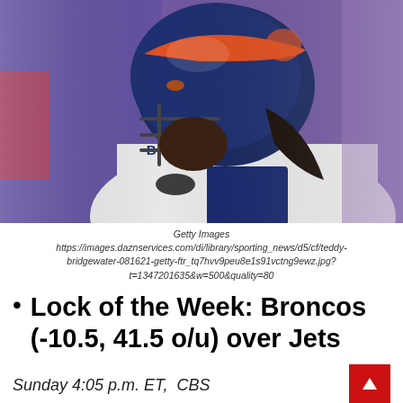[Figure (photo): Football player wearing Denver Broncos helmet and jersey with 'BRIDGEWATER' on the back, viewed from behind/side angle, with purple blurred background]
Getty Images
https://images.daznservices.com/di/library/sporting_news/d5/cf/teddy-bridgewater-081621-getty-ftr_tq7hvv9peu8e1s91vctng9ewz.jpg?t=1347201635&w=500&quality=80
Lock of the Week: Broncos (-10.5, 41.5 o/u) over Jets
Sunday 4:05 p.m. ET,  CBS